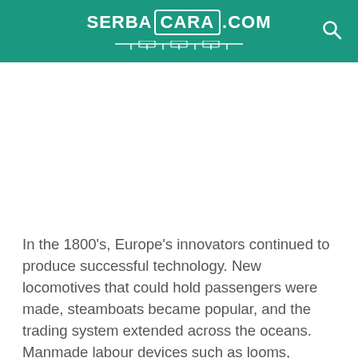SERBACARA.COM
[Figure (other): White space / advertisement placeholder area]
In the 1800’s, Europe’s innovators continued to produce successful technology. New locomotives that could hold passengers were made, steamboats became popular, and the trading system extended across the oceans. Manmade labour devices such as looms, furnaces, and cars became established as well. By the 1900’s, our world was full of new creations to help everyday life become easier. By 1900’s phones, computers, modern vehicles, and other